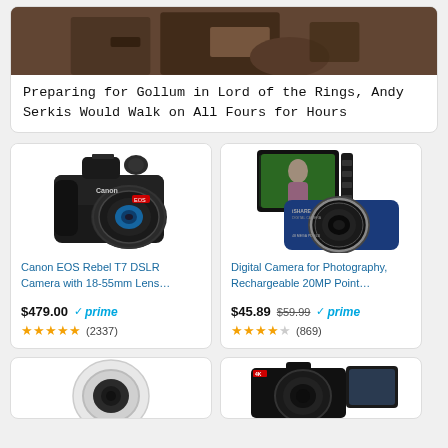[Figure (photo): Partial photo of person's hands/feet, cropped at top]
Preparing for Gollum in Lord of the Rings, Andy Serkis Would Walk on All Fours for Hours
[Figure (photo): Canon EOS Rebel T7 DSLR camera product photo]
Canon EOS Rebel T7 DSLR Camera with 18-55mm Lens...
$479.00 prime
★★★★★ (2337)
[Figure (photo): iSHARE digital camera product photo showing camera with display showing woman]
Digital Camera for Photography, Rechargeable 20MP Point...
$45.89  $59.99  prime
★★★★☆ (869)
[Figure (photo): White security/webcam product photo, partially visible]
[Figure (photo): Black 4K mirrorless camera product photo, partially visible]